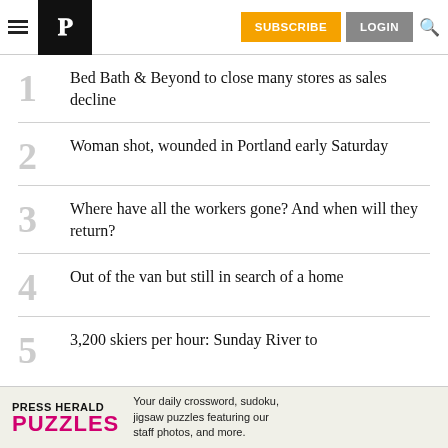Press Herald — SUBSCRIBE | LOGIN
Bed Bath & Beyond to close many stores as sales decline
Woman shot, wounded in Portland early Saturday
Where have all the workers gone? And when will they return?
Out of the van but still in search of a home
3,200 skiers per hour: Sunday River to…
PRESS HERALD PUZZLES — Your daily crossword, sudoku, jigsaw puzzles featuring our staff photos, and more.